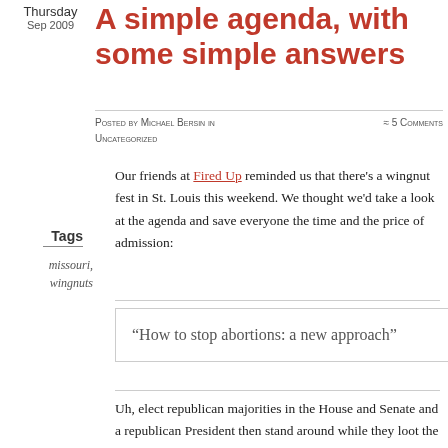A simple agenda, with some simple answers
Posted by Michael Bersin in Uncategorized ≈ 5 Comments
Our friends at Fired Up reminded us that there's a wingnut fest in St. Louis this weekend. We thought we'd take a look at the agenda and save everyone the time and the price of admission:
Tags
missouri,
wingnuts
“How to stop abortions: a new approach”
Uh, elect republican majorities in the House and Senate and a republican President then stand around while they loot the treasury and enrich their cronies as they ignore the people they mobilized with their wedge politics strategery. Oh, wait, you said “a new